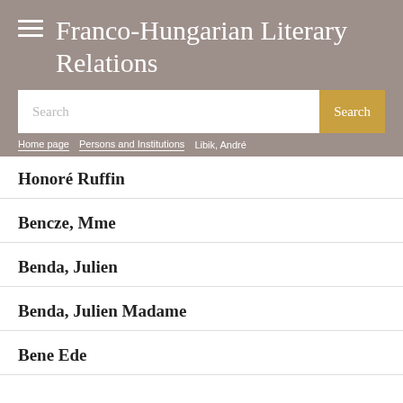Franco-Hungarian Literary Relations
Search
Home page > Persons and Institutions > Libik, André
Honoré Ruffin
Bencze, Mme
Benda, Julien
Benda, Julien Madame
Bene Ede